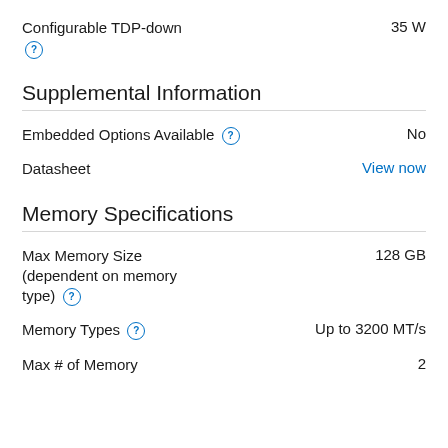Configurable TDP-down   35 W
Supplemental Information
Embedded Options Available   No
Datasheet   View now
Memory Specifications
Max Memory Size (dependent on memory type)   128 GB
Memory Types   Up to 3200 MT/s
Max # of Memory   2